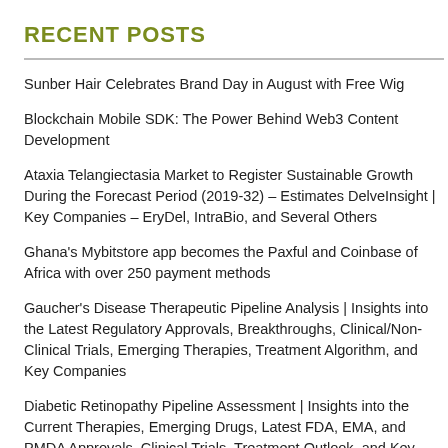RECENT POSTS
Sunber Hair Celebrates Brand Day in August with Free Wig
Blockchain Mobile SDK: The Power Behind Web3 Content Development
Ataxia Telangiectasia Market to Register Sustainable Growth During the Forecast Period (2019-32) – Estimates DelveInsight | Key Companies – EryDel, IntraBio, and Several Others
Ghana's Mybitstore app becomes the Paxful and Coinbase of Africa with over 250 payment methods
Gaucher's Disease Therapeutic Pipeline Analysis | Insights into the Latest Regulatory Approvals, Breakthroughs, Clinical/Non-Clinical Trials, Emerging Therapies, Treatment Algorithm, and Key Companies
Diabetic Retinopathy Pipeline Assessment | Insights into the Current Therapies, Emerging Drugs, Latest FDA, EMA, and PMDA Approvals, Clinical Trials, Treatment Outlook, and Key Companies Involved